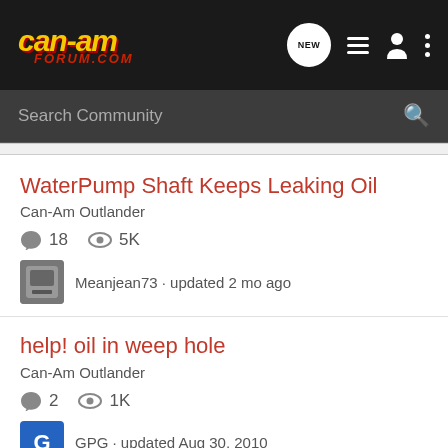can-am forum.com — header with navigation icons: NEW, list, user, menu
Search Community
WaterPump Shaft Keeps Leaking Oil
Can-Am Outlander
18 comments  5K views
Meanjean73 · updated 2 mo ago
help! oil in weep hole
Can-Am Outlander
2 comments  1K views
GPG · updated Aug 30, 2010
oiling at top speed 850